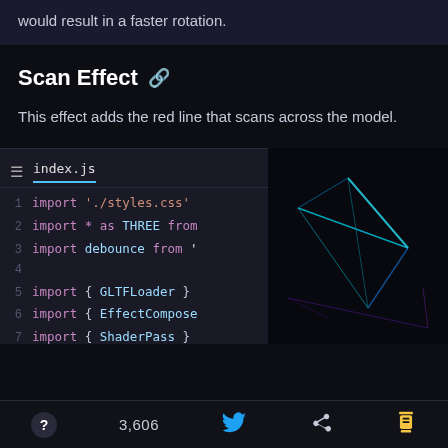would result in a faster rotation.
Scan Effect
This effect adds the red line that scans across the model.
[Figure (screenshot): Code editor showing index.js with import statements for styles.css, THREE, debounce, GLTFLoader, EffectComposer, ShaderPass alongside a 3D rendered preview of a dark geometric model with cyan/blue neon lines]
? 3,606 [Twitter] [Share] [Coffee]